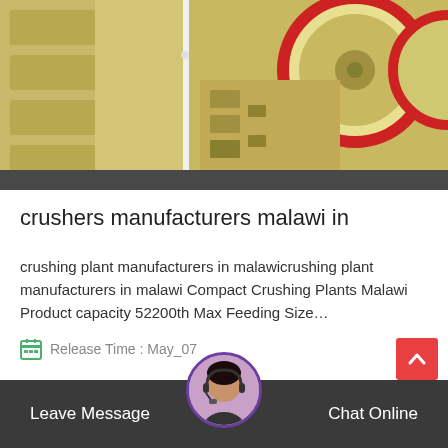[Figure (photo): Yellow industrial jaw crushers / crushing machines in a factory or workshop setting. Two images side by side: left shows the side panel/frame of equipment, right shows a large crusher with a prominent red-rimmed flywheel.]
crushers manufacturers malawi in
crushing plant manufacturers in malawicrushing plant manufacturers in malawi Compact Crushing Plants Malawi Product capacity 52200th Max Feeding Size…
Release Time : May_07
Leave Message   Chat Online